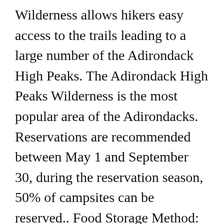Wilderness allows hikers easy access to the trails leading to a large number of the Adirondack High Peaks. The Adirondack High Peaks Wilderness is the most popular area of the Adirondacks. Reservations are recommended between May 1 and September 30, during the reservation season, 50% of campsites can be reserved.. Food Storage Method: All food, garbage and scented items must be stored in park-approved bear ... Cancel a Reservation » 2021 Family Camping Reservations begin on: 2/1/2021 for ONLY Sebago Lake State Park Family Camping sites. This is easily the most ... The High Peaks Wilderness Complex includes the core